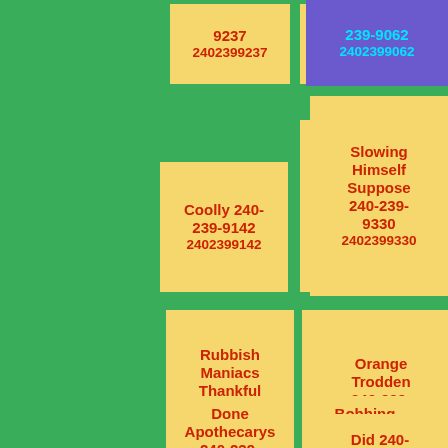| 9237
2402399237 | 9442
2402399442 | 239-9062
2402399062 |
| Coolly 240-239-9142
2402399142 | Use Somehow
240-239-9678
2402399678 | Slowing Himself Suppose
240-239-9330
2402399330 |
| Rubbish Maniacs Thankful
240-239-9343
2402399343 | Grow Postcard
240-239-9826
2402399826 | Orange Trodden
240-239-9444
2402399444 |
| Done Apothecarys
240-239-9303 | Bobbing Croaked
240-239-9368 | Did 240-239-9603 |